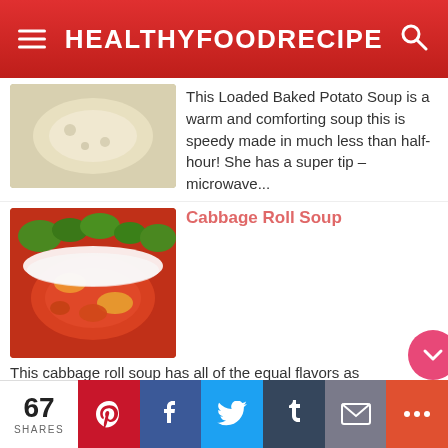HEALTHYFOODRECIPE
This Loaded Baked Potato Soup is a warm and comforting soup this is speedy made in much less than half-hour! She has a super tip – microwave...
Cabbage Roll Soup
This cabbage roll soup has all of the equal flavors as conventional baked cabbage rolls, but with way less work! This unstuffed cabbage soup...
Easy Taco Salad Cups
I often gravitate towards the miniature version of traditionally not-so-miniature foods. Upload to the fact that they're made in a muffin ti...
67 SHARES | Pinterest | Facebook | Twitter | Tumblr | Email | More